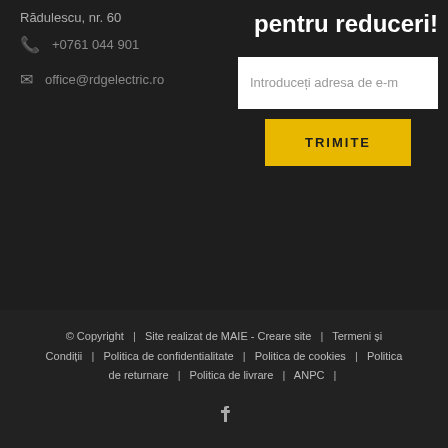Rădulescu, nr. 60
+0761 044 901
office@rdgelectric.ro
pentru reduceri!
Introduceți adresa de e-mail
TRIMITE
© Copyright | Site realizat de MAIE - Creare site | Termeni și Condiții | Politica de confidentialitate | Politica de cookies | Politica de returnare | Politica de livrare | ANPC |